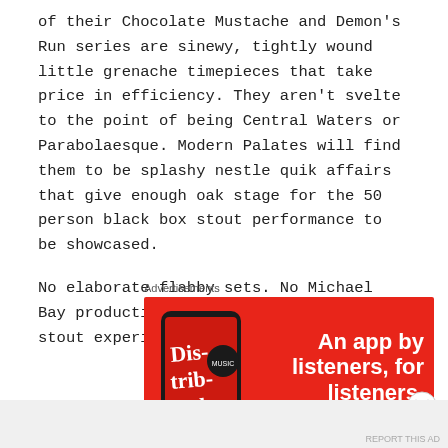of their Chocolate Mustache and Demon's Run series are sinewy, tightly wound little grenache timepieces that take price in efficiency. They aren't svelte to the point of being Central Waters or Parabolaesque. Modern Palates will find them to be splashy nestle quik affairs that give enough oak stage for the 50 person black box stout performance to be showcased.
No elaborate flabby sets. No Michael Bay production values. A distilled stout experience.
Advertisements
[Figure (infographic): Red advertisement banner for a podcast/audio app showing a smartphone with 'Distributed' text on screen and white bold text reading 'An app by listeners, for listeners.' on red background]
Advertisements